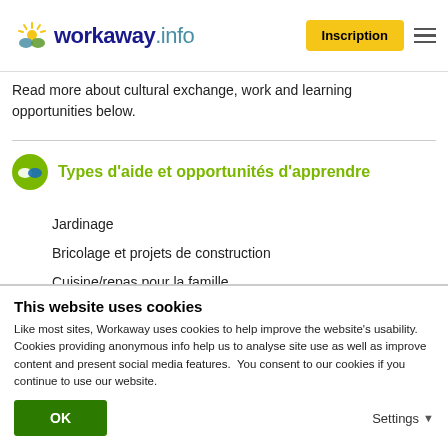[Figure (logo): Workaway.info logo with sun and hands icon, blue and teal text]
[Figure (other): Yellow Inscription button and hamburger menu icon]
Read more about cultural exchange, work and learning opportunities below.
Types d'aide et opportunités d'apprendre
Jardinage
Bricolage et projets de construction
Cuisine/repas pour la famille
Aide à la maison
Projets artistiques
This website uses cookies
Like most sites, Workaway uses cookies to help improve the website's usability. Cookies providing anonymous info help us to analyse site use as well as improve content and present social media features.  You consent to our cookies if you continue to use our website.
OK
Settings